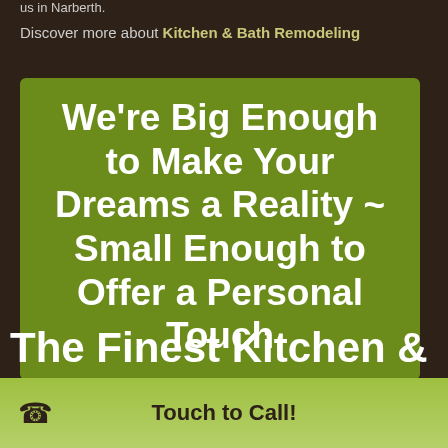us in Narberth.
Discover more about Kitchen & Bath Remodeling
We're Big Enough to Make Your Dreams a Reality ~ Small Enough to Offer a Personal Touch
The Finest Kitchen &
Touch to Call!